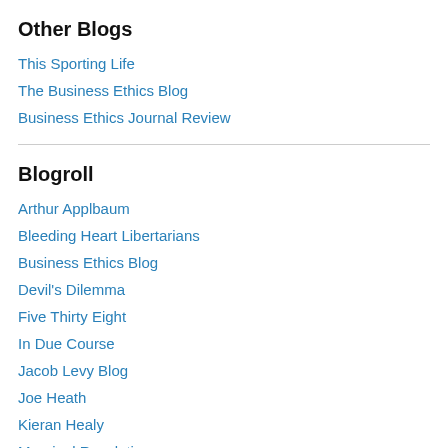Other Blogs
This Sporting Life
The Business Ethics Blog
Business Ethics Journal Review
Blogroll
Arthur Applbaum
Bleeding Heart Libertarians
Business Ethics Blog
Devil's Dilemma
Five Thirty Eight
In Due Course
Jacob Levy Blog
Joe Heath
Kieran Healy
Marginal Revolution
Saideman's Semi-Spew
Soccer Politics